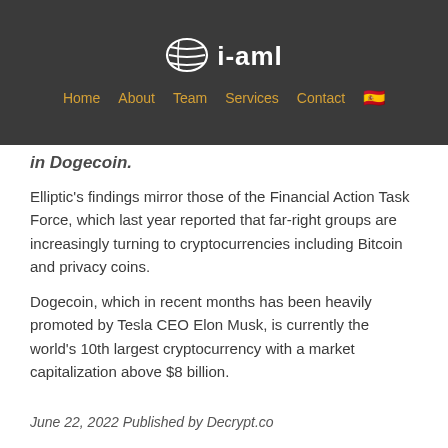i-aml | Home | About | Team | Services | Contact
in Dogecoin.
Elliptic's findings mirror those of the Financial Action Task Force, which last year reported that far-right groups are increasingly turning to cryptocurrencies including Bitcoin and privacy coins.
Dogecoin, which in recent months has been heavily promoted by Tesla CEO Elon Musk, is currently the world's 10th largest cryptocurrency with a market capitalization above $8 billion.
June 22, 2022 Published by Decrypt.co